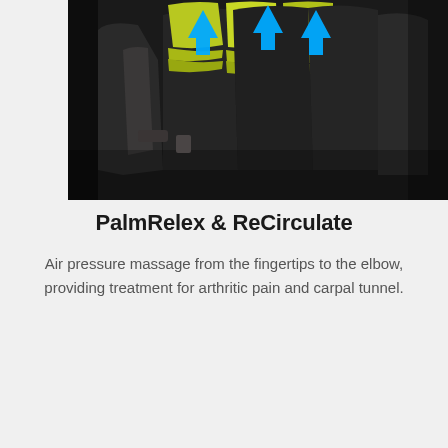[Figure (photo): Close-up photograph of a massage chair arm/hand section, showing dark black padded panels with yellow-green cushions and two blue upward-pointing arrows indicating air pressure massage direction from fingertips to elbow.]
PalmRelex & ReCirculate
Air pressure massage from the fingertips to the elbow, providing treatment for arthritic pain and carpal tunnel.